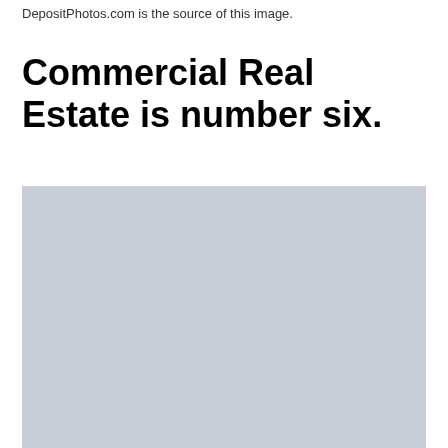DepositPhotos.com is the source of this image.
Commercial Real Estate is number six.
[Figure (photo): Large light gray placeholder image representing a commercial real estate photograph.]